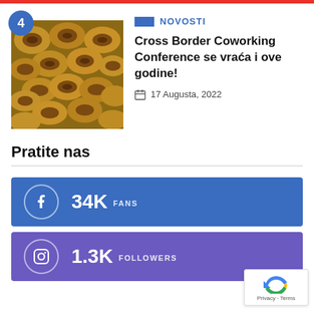[Figure (photo): Stack of firewood logs, thumbnail image for article]
NOVOSTI
Cross Border Coworking Conference se vraća i ove godine!
17 Augusta, 2022
Pratite nas
34K FANS
1.3K FOLLOWERS